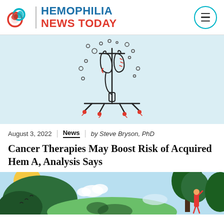HEMOPHILIA NEWS TODAY
[Figure (illustration): Line drawing illustration of an IV drip stand with a bag and tubing, surrounded by small circular bubble shapes, on a light blue background]
August 3, 2022 | News | by Steve Bryson, PhD
Cancer Therapies May Boost Risk of Acquired Hem A, Analysis Says
[Figure (illustration): Colorful illustration showing an outdoor scene with a yellow sun, green trees, blue sky with clouds, and a person in red clothing reaching up toward a tree]